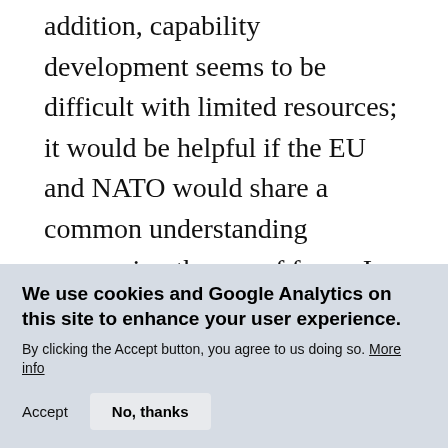addition, capability development seems to be difficult with limited resources; it would be helpful if the EU and NATO would share a common understanding concerning the use of force. In this light, they underlined that NATO is meant to respond instantly, whereas the EU—as a peace project—is designed to seek cooperation.
Hybrid Threats
We use cookies and Google Analytics on this site to enhance your user experience. By clicking the Accept button, you agree to us doing so. More info